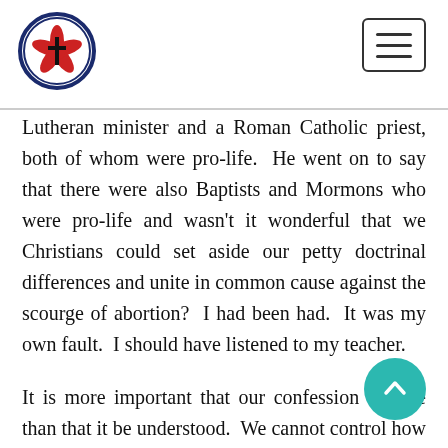[Lutheran organization logo and navigation menu button]
Lutheran minister and a Roman Catholic priest, both of whom were pro-life.  He went on to say that there were also Baptists and Mormons who were pro-life and wasn't it wonderful that we Christians could set aside our petty doctrinal differences and unite in common cause against the scourge of abortion?  I had been had.  It was my own fault.  I should have listened to my teacher.
It is more important that our confession be true than that it be understood.  We cannot control how others think or how they will receive what we say.  We can only strive to speak as clearly as we can.  We need to learn where and when to bend and where and when we